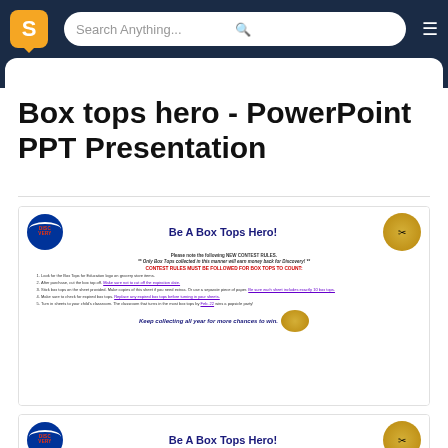S | Search Anything... | ☰
Box tops hero - PowerPoint PPT Presentation
[Figure (screenshot): Slide preview showing 'Be A Box Tops Hero!' with Discovery logo, contest rules numbered list, and keep collecting message]
[Figure (screenshot): Second slide preview showing 'Be A Box Tops Hero!' with Discovery logo and contest rules beginning]